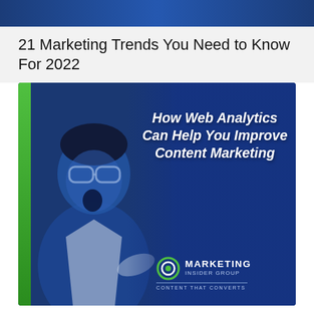21 Marketing Trends You Need to Know For 2022
[Figure (illustration): Promotional card image with a surprised man wearing glasses looking at a screen, overlaid with text 'How Web Analytics Can Help You Improve Content Marketing' and the Marketing Insider Group logo with tagline 'Content That Converts'. A green vertical bar is on the left edge of the card, and the background is deep blue.]